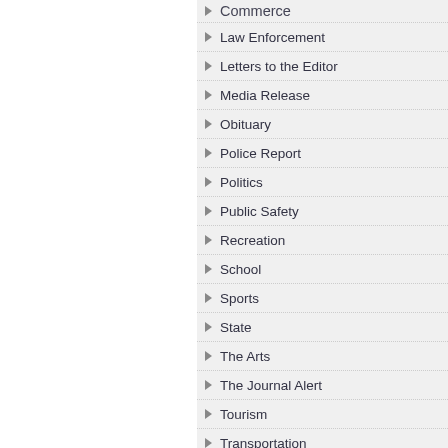Commerce
Law Enforcement
Letters to the Editor
Media Release
Obituary
Police Report
Politics
Public Safety
Recreation
School
Sports
State
The Arts
The Journal Alert
Tourism
Transportation
Utilities
Water
Weather